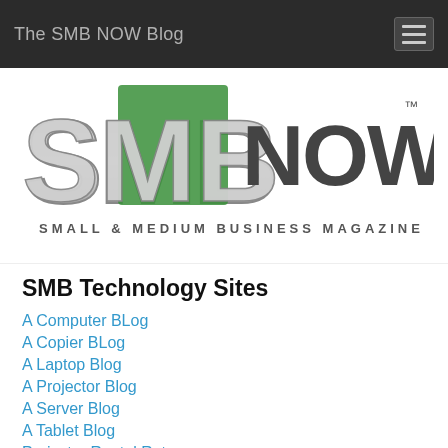The SMB NOW Blog
[Figure (logo): SMBNow logo with large stylized letters SMB in gray and green, NOW in dark gray, with TM mark, and tagline SMALL & MEDIUM BUSINESS MAGAZINE below]
SMB Technology Sites
A Computer BLog
A Copier BLog
A Laptop Blog
A Projector Blog
A Server Blog
A Tablet Blog
Projector Rental Rates
SMB Audio Visual Rentals
SMB Computer Rental